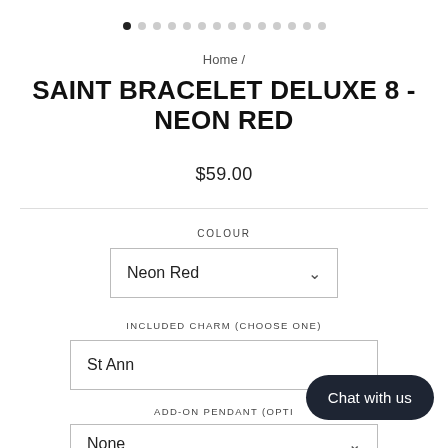[Figure (other): Carousel dot indicators — one filled dark dot (active) followed by thirteen light grey dots]
Home /
SAINT BRACELET DELUXE 8 - NEON RED
$59.00
COLOUR
Neon Red
INCLUDED CHARM (CHOOSE ONE)
St Ann
ADD-ON PENDANT (OPTI…
None
Chat with us